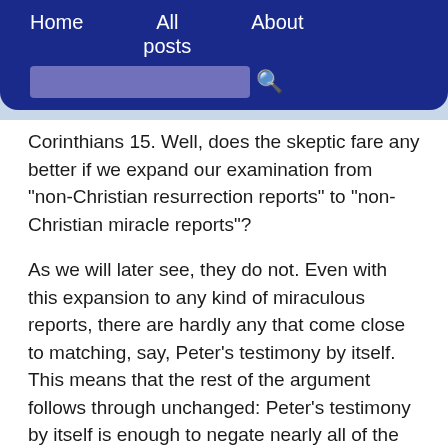Home   All posts   About
Corinthians 15. Well, does the skeptic fare any better if we expand our examination from "non-Christian resurrection reports" to "non-Christian miracle reports"?
As we will later see, they do not. Even with this expansion to any kind of miraculous reports, there are hardly any that come close to matching, say, Peter's testimony by itself. This means that the rest of the argument follows through unchanged: Peter's testimony by itself is enough to negate nearly all of the small prior, Peter and Paul's together is enough to safely and significantly overcome it, and all of 1 Corinthians 15 completely overwhelms it.
The inherent problem with this kind of approach - of